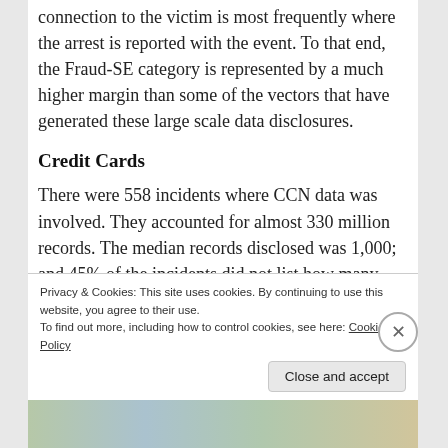connection to the victim is most frequently where the arrest is reported with the event. To that end, the Fraud-SE category is represented by a much higher margin than some of the vectors that have generated these large scale data disclosures.
Credit Cards
There were 558 incidents where CCN data was involved. They accounted for almost 330 million records. The median records disclosed was 1,000; and 45% of the incidents did not list how many records were disclosed. These records should fall under the Payment Card Industry's Data Security
Privacy & Cookies: This site uses cookies. By continuing to use this website, you agree to their use.
To find out more, including how to control cookies, see here: Cookie Policy
Close and accept